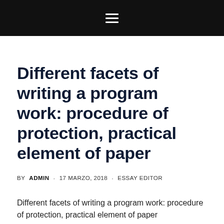≡
Different facets of writing a program work: procedure of protection, practical element of paper
BY ADMIN · 17 MARZO, 2018 · ESSAY EDITOR
Different facets of writing a program work: procedure of protection, practical element of paper